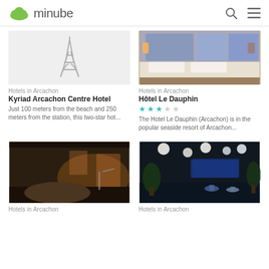minube
[Figure (photo): Placeholder image with Eiffel Tower outline on grey background for Kyriad Arcachon Centre Hotel]
[Figure (photo): Hotel room photo showing a bed with white linens for Hôtel Le Dauphin]
Hotels in Arcachon
Kyriad Arcachon Centre Hotel
Just 100 meters from the beach and 250 meters from the station, this two-star hot...
Hotels in Arcachon
Hôtel Le Dauphin
★★★☆☆
The Hotel Le Dauphin (Arcachon) is in the popular seaside resort of Arcachon...
[Figure (photo): Dark hotel room with warm lighting showing a bed for a Hotels in Arcachon listing]
[Figure (photo): Hotel lobby/lounge with blue lighting, plants, and modern furnishings for Hotels in Arcachon listing]
Hotels in Arcachon
Hotels in Arcachon